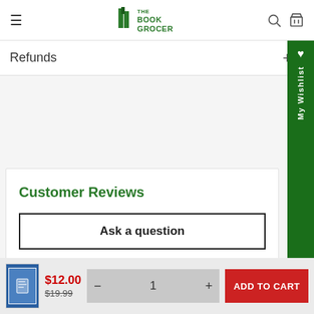The Book Grocer
Refunds
Customer Reviews
Ask a question
$12.00 $19.99 − 1 + ADD TO CART